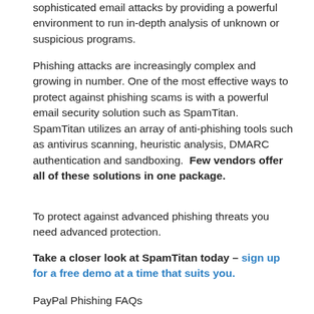sophisticated email attacks by providing a powerful environment to run in-depth analysis of unknown or suspicious programs.
Phishing attacks are increasingly complex and growing in number. One of the most effective ways to protect against phishing scams is with a powerful email security solution such as SpamTitan.  SpamTitan utilizes an array of anti-phishing tools such as antivirus scanning, heuristic analysis, DMARC authentication and sandboxing.  Few vendors offer all of these solutions in one package.
To protect against advanced phishing threats you need advanced protection.
Take a closer look at SpamTitan today – sign up for a free demo at a time that suits you.
PayPal Phishing FAQs